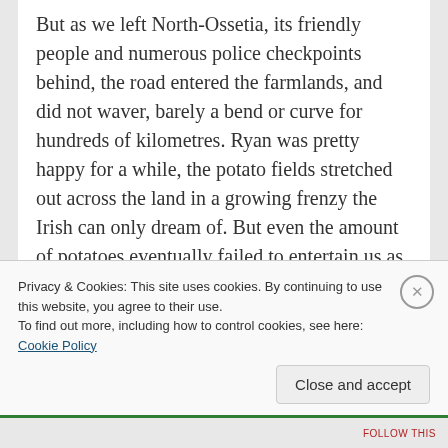But as we left North-Ossetia, its friendly people and numerous police checkpoints behind, the road entered the farmlands, and did not waver, barely a bend or curve for hundreds of kilometres. Ryan was pretty happy for a while, the potato fields stretched out across the land in a growing frenzy the Irish can only dream of. But even the amount of potatoes eventually failed to entertain us as we drove on and on.
It was particularly difficult to find campsites out of sight and sound of the roads. The first night we followed a dirt track into the fields, setting up our
Privacy & Cookies: This site uses cookies. By continuing to use this website, you agree to their use.
To find out more, including how to control cookies, see here: Cookie Policy
Close and accept